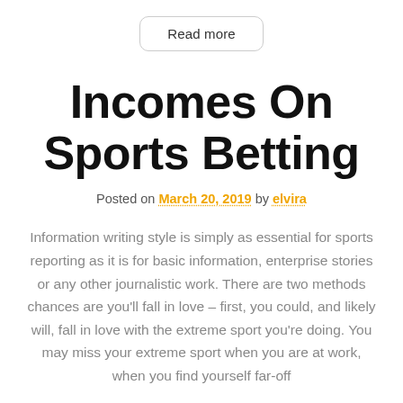Read more
Incomes On Sports Betting
Posted on March 20, 2019 by elvira
Information writing style is simply as essential for sports reporting as it is for basic information, enterprise stories or any other journalistic work. There are two methods chances are you'll fall in love – first, you could, and likely will, fall in love with the extreme sport you're doing. You may miss your extreme sport when you are at work, when you find yourself far-off